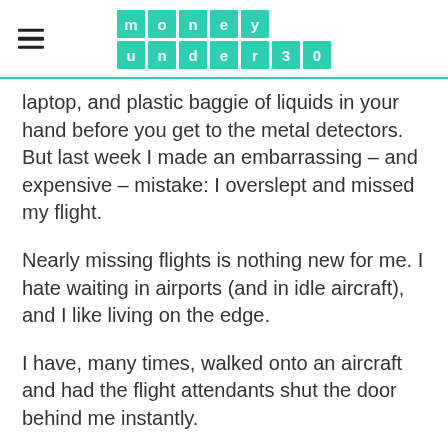money under 30
laptop, and plastic baggie of liquids in your hand before you get to the metal detectors. But last week I made an embarrassing – and expensive – mistake: I overslept and missed my flight.
Nearly missing flights is nothing new for me. I hate waiting in airports (and in idle aircraft), and I like living on the edge.
I have, many times, walked onto an aircraft and had the flight attendants shut the door behind me instantly.
Now that's close.